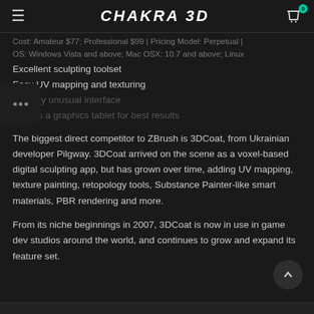CHAKRA 3D
Cost: Amateur $77; Professional $99 | Pricing Model: Perpetual | OS: Windows Vista and above; Mac OSX: 10.7 and above; Linux
Excellent sculpting toolset
Easy UV mapping and texturing
Slightly unusual interface
Needs a graphics tablet for best results
The biggest direct competitor to ZBrush is 3DCoat, from Ukrainian developer Pilgway. 3DCoat arrived on the scene as a voxel-based digital sculpting app, but has grown over time, adding UV mapping, texture painting, retopology tools, Substance Painter-like smart materials, PBR rendering and more.
From its niche beginnings in 2007, 3DCoat is now in use in game dev studios around the world, and continues to grow and expand its feature set.